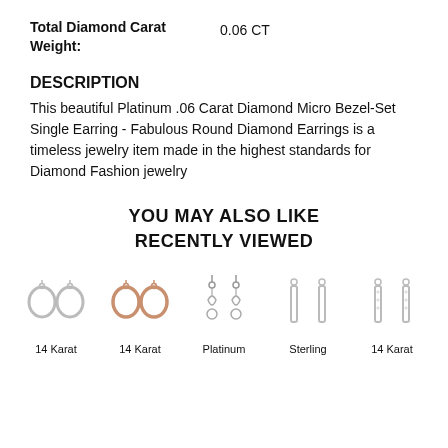| Attribute | Value |
| --- | --- |
| Total Diamond Carat Weight: | 0.06 CT |
DESCRIPTION
This beautiful Platinum .06 Carat Diamond Micro Bezel-Set Single Earring - Fabulous Round Diamond Earrings is a timeless jewelry item made in the highest standards for Diamond Fashion jewelry
YOU MAY ALSO LIKE
RECENTLY VIEWED
[Figure (photo): Five product images of earrings: 14 Karat white hoop earrings, 14 Karat rose/gold hoop earrings, Platinum drop earrings, Sterling silver stud earrings, 14 Karat white stud earrings]
14 Karat   14 Karat   Platinum   Sterling   14 Karat